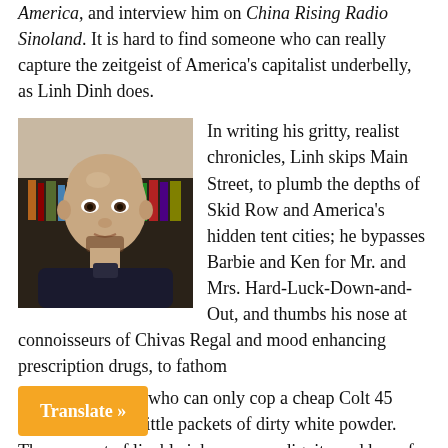America, and interview him on China Rising Radio Sinoland. It is hard to find someone who can really capture the zeitgeist of America's capitalist underbelly, as Linh Dinh does.
[Figure (photo): Portrait photo of a bald Asian man with a short beard, seated indoors with bookshelves visible in the background.]
In writing his gritty, realist chronicles, Linh skips Main Street, to plumb the depths of Skid Row and America's hidden tent cities; he bypasses Barbie and Ken for Mr. and Mrs. Hard-Luck-Down-and-Out, and thumbs his nose at connoisseurs of Chivas Regal and mood enhancing prescription drugs, to fathom the souls of those who can only cop a cheap Colt 45 Malt Liquor and little packets of dirty white powder. They are out of livable jobs, money, dignity and hope for the long lost, mythical American dream.
Join Jeff in a fascinating interview with a gifted and talented observer of the real human condition – the one you never see in the fake news mainstream media. We all have something to learn and Linh Dinh.